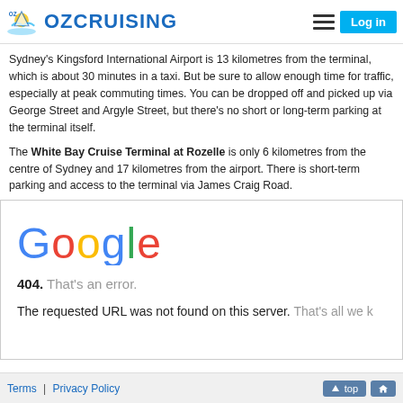OZCRUISING — Log in
Sydney's Kingsford International Airport is 13 kilometres from the terminal, which is about 30 minutes in a taxi. But be sure to allow enough time for traffic, especially at peak commuting times. You can be dropped off and picked up via George Street and Argyle Street, but there's no short or long-term parking at the terminal itself.
The White Bay Cruise Terminal at Rozelle is only 6 kilometres from the centre of Sydney and 17 kilometres from the airport. There is short-term parking and access to the terminal via James Craig Road.
[Figure (screenshot): Google 404 error page screenshot showing the Google logo, '404. That's an error.' message, and 'The requested URL was not found on this server. That's all we k...']
Terms | Privacy Policy   [top] [home]